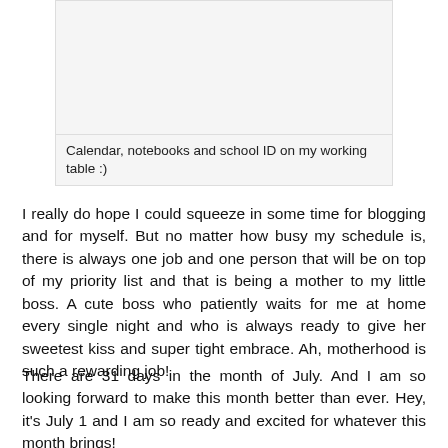[Figure (photo): Photo of calendar, notebooks and school ID on a working table]
Calendar, notebooks and school ID on my working table :)
I really do hope I could squeeze in some time for blogging and for myself. But no matter how busy my schedule is, there is always one job and one person that will be on top of my priority list and that is being a mother to my little boss. A cute boss who patiently waits for me at home every single night and who is always ready to give her sweetest kiss and super tight embrace. Ah, motherhood is such a rewarding job!
There are 31 days in the month of July. And I am so looking forward to make this month better than ever. Hey, it's July 1 and I am so ready and excited for whatever this month brings!